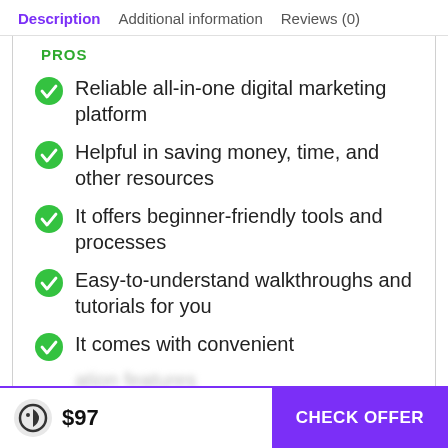Description  Additional information  Reviews (0)
PROS
Reliable all-in-one digital marketing platform
Helpful in saving money, time, and other resources
It offers beginner-friendly tools and processes
Easy-to-understand walkthroughs and tutorials for you
It comes with convenient
$97  CHECK OFFER